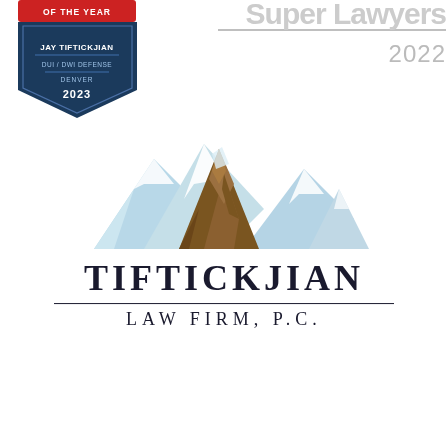[Figure (logo): DUI Attorney of the Year badge: red banner 'OF THE YEAR', dark blue pentagon shield with 'JAY TIFTICKJIAN', 'DUI / DWI DEFENSE', 'DENVER', '2023']
[Figure (logo): Super Lawyers logo text in gray with '2022' below]
[Figure (logo): Tiftickjian Law Firm, P.C. logo with mountain illustration (snow-capped peaks with brown rocky face) above the firm name text]